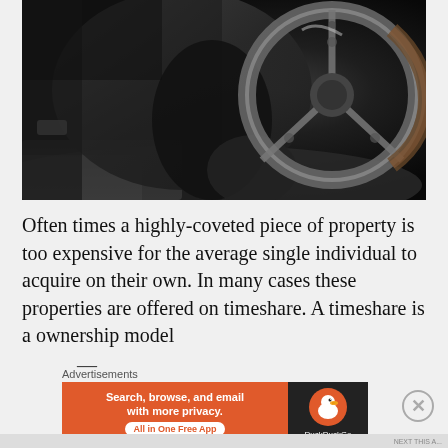[Figure (photo): Dark close-up photograph of a vintage car interior showing leather seat, gloved hands, and a classic steering wheel with chrome spokes]
Often times a highly-coveted piece of property is too expensive for the average single individual to acquire on their own. In many cases these properties are offered on timeshare. A timeshare is a ownership model
Advertisements
[Figure (infographic): DuckDuckGo advertisement banner: orange left section reading 'Search, browse, and email with more privacy. All in One Free App' with a button, and dark right section with DuckDuckGo logo duck icon and DuckDuckGo text]